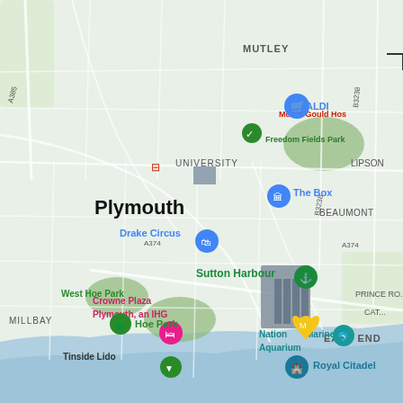[Figure (map): Google Maps view of Plymouth, UK showing streets, landmarks, parks, and points of interest including ALDI, The Box museum, Drake Circus, Sutton Harbour, National Marine Aquarium, Royal Citadel, Crowne Plaza, Hoe Park, West Hoe Park, Tinside Lido, Freedom Fields Park, Mount Gould Hospital, and various road labels (A385, A374, B3238, A374). The map shows the city centre, waterfront, and surrounding residential areas with a blue sea/harbour at the bottom.]